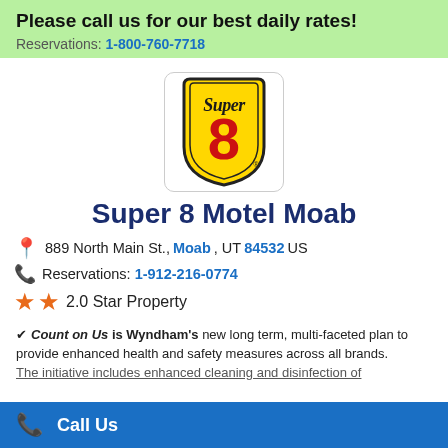Please call us for our best daily rates!
Reservations: 1-800-760-7718
[Figure (logo): Super 8 Motel logo — yellow shield shape with red '8' and 'Super' script text in black]
Super 8 Motel Moab
889 North Main St., Moab, UT 84532 US
Reservations: 1-912-216-0774
2.0 Star Property
Count on Us is Wyndham's new long term, multi-faceted plan to provide enhanced health and safety measures across all brands. The initiative includes enhanced cleaning and disinfection of
Call Us